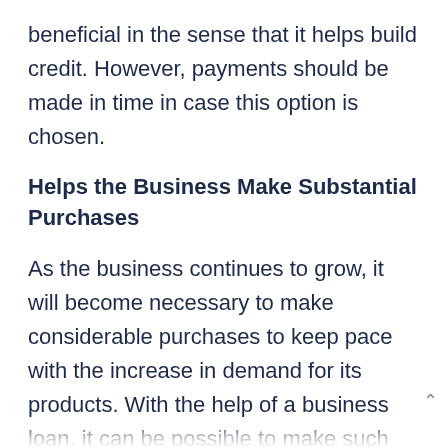beneficial in the sense that it helps build credit. However, payments should be made in time in case this option is chosen.
Helps the Business Make Substantial Purchases
As the business continues to grow, it will become necessary to make considerable purchases to keep pace with the increase in demand for its products. With the help of a business loan, it can be possible to make such large purchases. Making large purchases is related to large sales revenues as well. The revenues obtained can be sufficient enough help repay the loan. Besides, allowing a business to borrow money can help to expand the market served